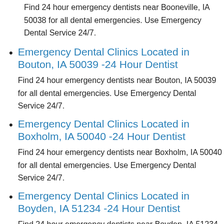Find 24 hour emergency dentists near Booneville, IA 50038 for all dental emergencies. Use Emergency Dental Service 24/7.
Emergency Dental Clinics Located in Bouton, IA 50039 -24 Hour Dentist
Find 24 hour emergency dentists near Bouton, IA 50039 for all dental emergencies. Use Emergency Dental Service 24/7.
Emergency Dental Clinics Located in Boxholm, IA 50040 -24 Hour Dentist
Find 24 hour emergency dentists near Boxholm, IA 50040 for all dental emergencies. Use Emergency Dental Service 24/7.
Emergency Dental Clinics Located in Boyden, IA 51234 -24 Hour Dentist
Find 24 hour emergency dentists near Boyden, IA 51234 for all dental emergencies. Use Emergency Dental Service 24/7.
Emergency Dental Clinics Located in Braddyville, IA 51631 -24 Hour Dentist